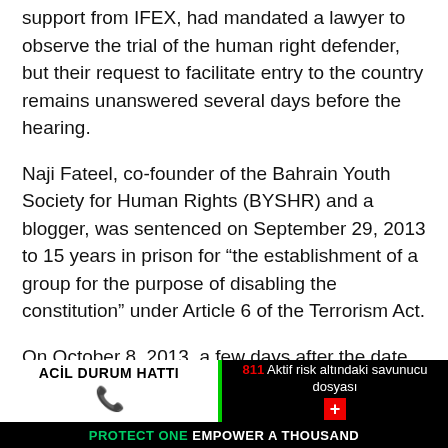support from IFEX, had mandated a lawyer to observe the trial of the human right defender, but their request to facilitate entry to the country remains unanswered several days before the hearing.
Naji Fateel, co-founder of the Bahrain Youth Society for Human Rights (BYSHR) and a blogger, was sentenced on September 29, 2013 to 15 years in prison for “the establishment of a group for the purpose of disabling the constitution” under Article 6 of the Terrorism Act.
On October 8, 2013, a few days after the date of the hearing was made public, IFEX wrote on behalf of the group to the Ministry of Human Rights and Social Development to facilitate entry to Bahrain for a lawyer appointed as trial
ACİL DURUM HATTI | 811 Aktif risk altındaki savunucu dosyası | PROTECT ONE EMPOWER A THOUSAND